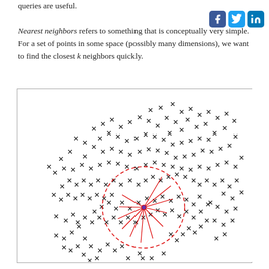queries are useful.

Nearest neighbors refers to something that is conceptually very simple. For a set of points in some space (possibly many dimensions), we want to find the closest k neighbors quickly.
[Figure (scatter-plot): Scatter plot of points in 2D space with a dashed red circle around a query point (shown in blue/red), with red lines drawn from the query point to its nearest neighbors. The majority of points are black x marks distributed across the plot, clustered more densely in the upper-center-right region.]